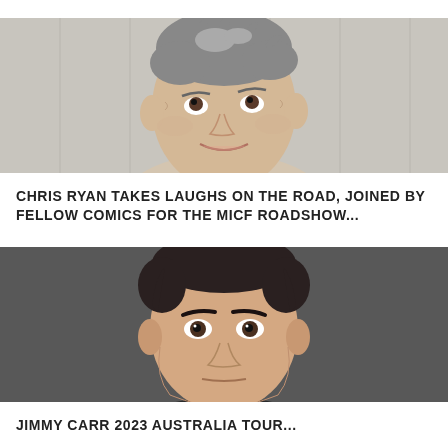[Figure (photo): Portrait photo of Chris Ryan, a middle-aged woman with short grey hair, looking upward, against a light grey wooden background.]
CHRIS RYAN TAKES LAUGHS ON THE ROAD, JOINED BY FELLOW COMICS FOR THE MICF ROADSHOW...
[Figure (photo): Close-up portrait photo of Jimmy Carr, a man with short dark hair, looking directly at the camera, against a dark grey background.]
JIMMY CARR 2023 AUSTRALIA TOUR...